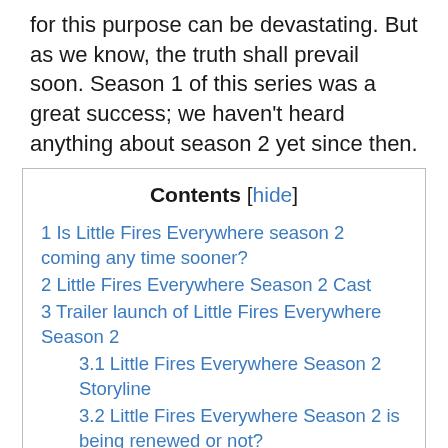for this purpose can be devastating. But as we know, the truth shall prevail soon. Season 1 of this series was a great success; we haven't heard anything about season 2 yet since then.
Contents [hide]
1 Is Little Fires Everywhere season 2 coming any time sooner?
2 Little Fires Everywhere Season 2 Cast
3 Trailer launch of Little Fires Everywhere Season 2
3.1 Little Fires Everywhere Season 2 Storyline
3.2 Little Fires Everywhere Season 2 is being renewed or not?
3.2.1 The Conclusion